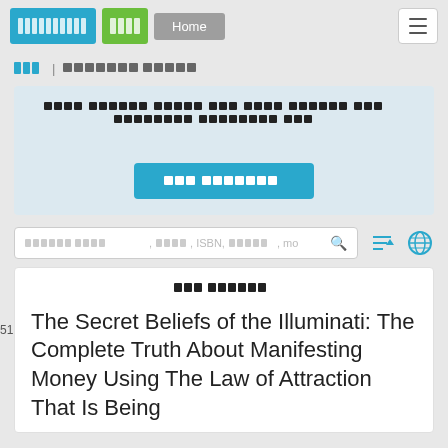Navigation bar with logo buttons and Home link
[breadcrumb] | [redacted text]
[Redacted promotional text] [CTA Button]
Search placeholder: [redacted], [redacted], ISBN, [redacted], mo
[Redacted section title]
The Secret Beliefs of the Illuminati: The Complete Truth About Manifesting Money Using The Law of Attraction That Is Being